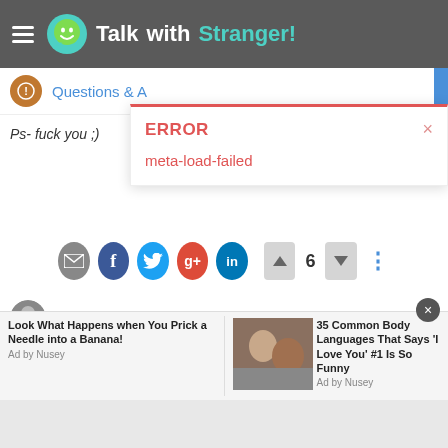TalkwithStranger!
Questions & A
ERROR
meta-load-failed
Ps- fuck you ;)
sup  VETERAN MODS  ONE WOMAN ARMY  Jul 7, 2018, 9:00 AM
@wtfjudith said in Ask whatever the hell you want:
@sup said in Ask whatever the hell you want:
Look What Happens when You Prick a Needle into a Banana!
Ad by Nusey
35 Common Body Languages That Says 'I Love You' #1 Is So Funny
Ad by Nusey